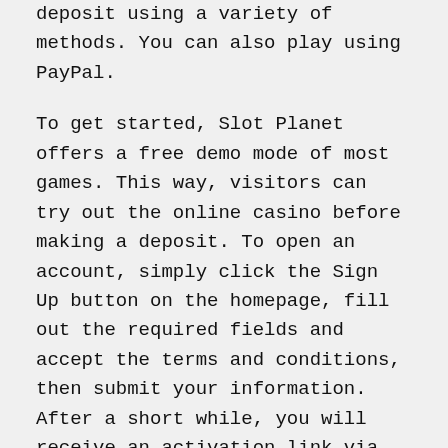deposit using a variety of methods. You can also play using PayPal.
To get started, Slot Planet offers a free demo mode of most games. This way, visitors can try out the online casino before making a deposit. To open an account, simply click the Sign Up button on the homepage, fill out the required fields and accept the terms and conditions, then submit your information. After a short while, you will receive an activation link via email. Once you have received the activation link, you can proceed with making a deposit and playing in real money.
You can choose from a variety of payment methods to fund your account. The fastest method to deposit funds into Slot Planet Casino is e-wallet, which allows you to make deposits and withdrawals immediately. Moreover, withdrawals are instant with the most convenient timeframes. Besides, the site offers a variety of bonuses. This is definitely a great choice if you're